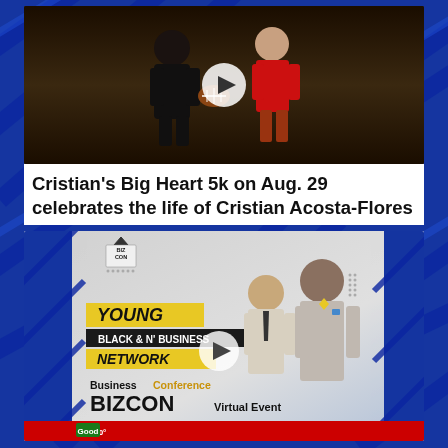[Figure (screenshot): Video thumbnail showing two people, one in sports attire holding a football, with a white circular play button overlay, on a dark background]
Cristian's Big Heart 5k on Aug. 29 celebrates the life of Cristian Acosta-Flores
[Figure (screenshot): Video thumbnail for BIZCON Young Black & N' Business Network Business Conference Virtual Event, Saturday August 27th 10AM-2PM, featuring two men in business attire, with BIZ CON logo, yellow and black branded labels, and a play button overlay]